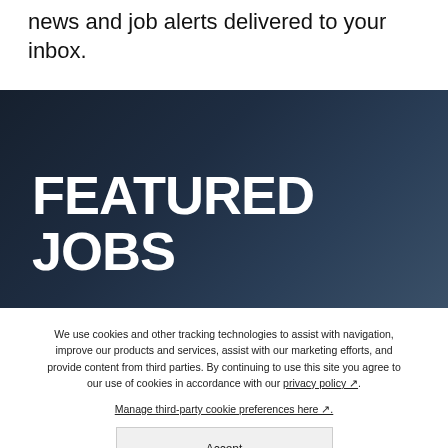news and job alerts delivered to your inbox.
FEATURED JOBS
We use cookies and other tracking technologies to assist with navigation, improve our products and services, assist with our marketing efforts, and provide content from third parties. By continuing to use this site you agree to our use of cookies in accordance with our privacy policy. Manage third-party cookie preferences here.
Accept